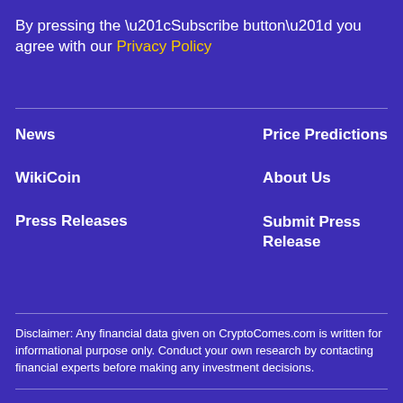By pressing the “Subscribe button” you agree with our Privacy Policy
News
WikiCoin
Press Releases
Price Predictions
About Us
Submit Press Release
Disclaimer: Any financial data given on CryptoComes.com is written for informational purpose only. Conduct your own research by contacting financial experts before making any investment decisions.